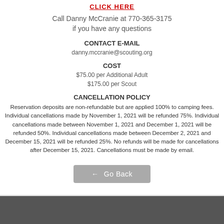click here
Call Danny McCranie at 770-365-3175 if you have any questions
CONTACT E-MAIL
danny.mccranie@scouting.org
COST
$75.00 per Additional Adult
$175.00 per Scout
CANCELLATION POLICY
Reservation deposits are non-refundable but are applied 100% to camping fees. Individual cancellations made by November 1, 2021 will be refunded 75%. Individual cancellations made between November 1, 2021 and December 1, 2021 will be refunded 50%. Individual cancellations made between December 2, 2021 and December 15, 2021 will be refunded 25%. No refunds will be made for cancellations after December 15, 2021. Cancellations must be made by email.
← Go Back